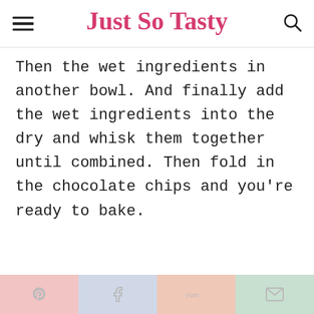Just So Tasty
Then the wet ingredients in another bowl. And finally add the wet ingredients into the dry and whisk them together until combined. Then fold in the chocolate chips and you’re ready to bake.
Pinterest | Facebook | Yummly | Email